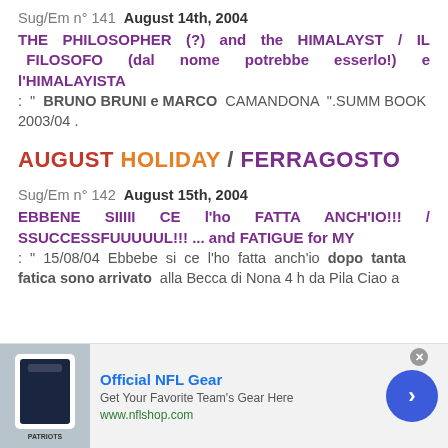Sug/Em n° 141  August 14th, 2004
THE PHILOSOPHER (?) and the HIMALAYST / IL FILOSOFO (dal nome potrebbe esserlo!) e l'HIMALAYISTA
: " BRUNO BRUNI e MARCO CAMANDONA ".SUMM BOOK 2003/04 .
AUGUST HOLIDAY / FERRAGOSTO
Sug/Em n° 142  August 15th, 2004
EBBENE SIIIII CE l'ho FATTA ANCH'IO!!! / SSUCCESSFUUUUUL!!! ... and FATIGUE for MY
: " 15/08/04 Ebbebe si ce l'ho fatta anch'io dopo tanta fatica sono arrivato alla Becca di Nona 4 h da Pila Ciao a
[Figure (screenshot): Advertisement banner for Official NFL Gear showing jersey image, text 'Official NFL Gear', 'Get Your Favorite Team's Gear Here', 'www.nflshop.com', and a blue arrow button]